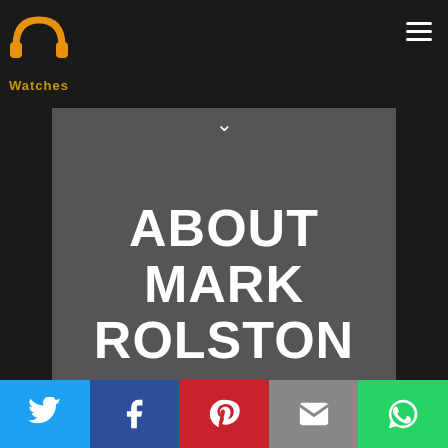[Figure (logo): PP Watches logo with orange icon and text 'Watches' below in orange]
ABOUT MARK ROLSTON
[Figure (infographic): Social share bar with Twitter, Facebook, Pinterest, Email, and WhatsApp buttons]